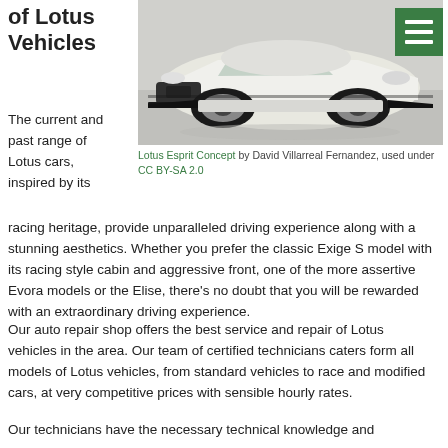of Lotus Vehicles
[Figure (photo): White Lotus Esprit Concept sports car, front three-quarter view, with a green menu/hamburger icon overlay in the top-right corner]
Lotus Esprit Concept by David Villarreal Fernandez, used under CC BY-SA 2.0
The current and past range of Lotus cars, inspired by its racing heritage, provide unparalleled driving experience along with a stunning aesthetics. Whether you prefer the classic Exige S model with its racing style cabin and aggressive front, one of the more assertive Evora models or the Elise, there’s no doubt that you will be rewarded with an extraordinary driving experience.
Our auto repair shop offers the best service and repair of Lotus vehicles in the area. Our team of certified technicians caters form all models of Lotus vehicles, from standard vehicles to race and modified cars, at very competitive prices with sensible hourly rates.
Our technicians have the necessary technical knowledge and